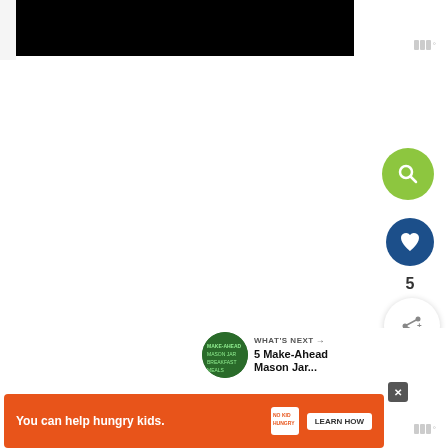[Figure (screenshot): Black video player area at the top of the page]
[Figure (screenshot): Green circular search/magnify button on the right side]
[Figure (screenshot): Blue circular heart/favorite button with count of 5]
[Figure (screenshot): White circular share button with share icon]
[Figure (screenshot): What's Next panel showing 5 Make-Ahead Mason Jar...]
WHAT'S NEXT → 5 Make-Ahead Mason Jar...
[Figure (screenshot): Orange advertisement banner: You can help hungry kids. No Kid Hungry. LEARN HOW]